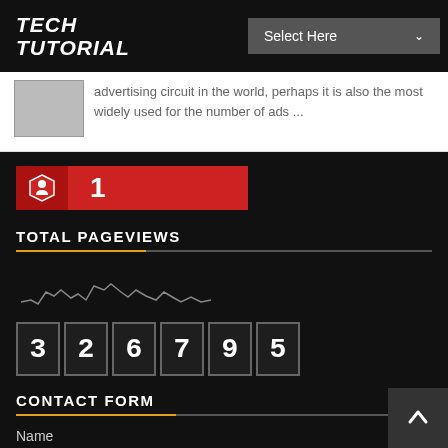TECH TUTORIAL
Select Here
advertising circuit in the world, perhaps it is also the most widely used for the number of ads ...
[Figure (other): Visitor counter badge showing number 1 with person icon on red background]
TOTAL PAGEVIEWS
[Figure (line-chart): Small jagged line chart showing pageview activity]
326795
CONTACT FORM
Name
Email *